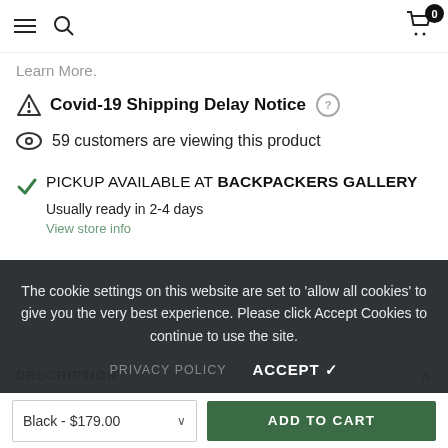Navigation bar with hamburger menu, search icon, and cart with 0 items
Learn More.
Covid-19 Shipping Delay Notice
59 customers are viewing this product
PICKUP AVAILABLE AT BACKPACKERS GALLERY
Usually ready in 2-4 days
View store info
The cookie settings on this website are set to 'allow all cookies' to give you the very best experience. Please click Accept Cookies to continue to use the site.
PRIVACY POLICY    ACCEPT ✓
DESCRIPTION
Black - $179.00    ADD TO CART